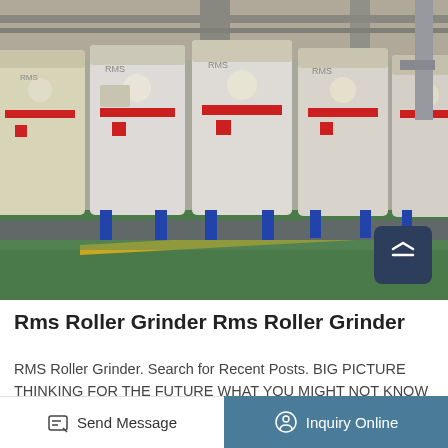[Figure (photo): Row of industrial RMS roller grinder machines with cream/white cylindrical bodies, red stripe markings, blue legs/supports, arranged in a factory hall with green reflective floor and yellow line markings.]
Rms Roller Grinder Rms Roller Grinder
RMS Roller Grinder. Search for Recent Posts. BIG PICTURE THINKING FOR THE FUTURE WHAT YOU MIGHT NOT KNOW ABOUT RMS EMPOWERING EACH OTHER IN BUSINESS BUSINESS PARTNERSHIPS EMPLOYEES AND CLIENTS Little Guys, Big Moves How
Send Message   Inquiry Online